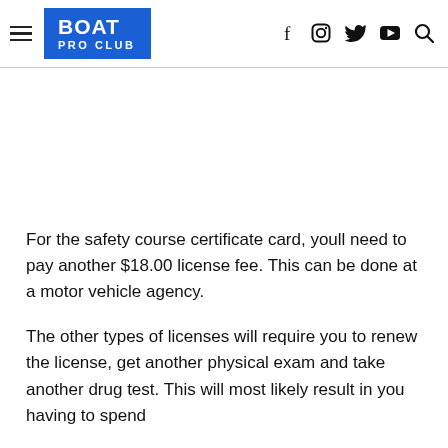BOAT PRO CLUB
For the safety course certificate card, youll need to pay another $18.00 license fee. This can be done at a motor vehicle agency.
The other types of licenses will require you to renew the license, get another physical exam and take another drug test. This will most likely result in you having to spend